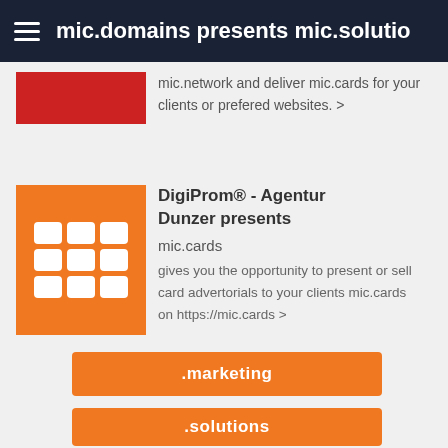mic.domains presents mic.solutions
mic.network and deliver mic.cards for your clients or prefered websites. >
DigiProm® - Agentur Dunzer presents
mic.cards
gives you the opportunity to present or sell card advertorials to your clients mic.cards on https://mic.cards >
.marketing
.solutions